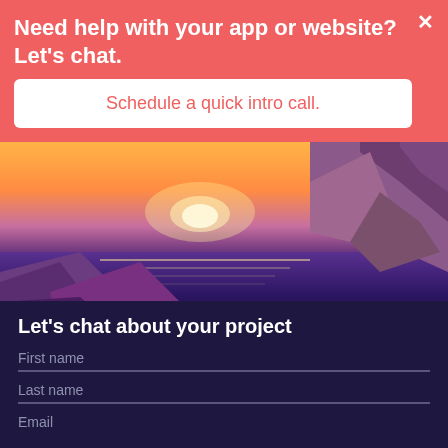Need help with your app or website? Let's chat.
Schedule a quick intro call.
[Figure (illustration): A digital low-poly illustration of a sunset landscape with purple and pink rocks, a calm reflective water body, and a glowing sun on the horizon with orange and yellow sky.]
Let's chat about your project
First name
Last name
Email